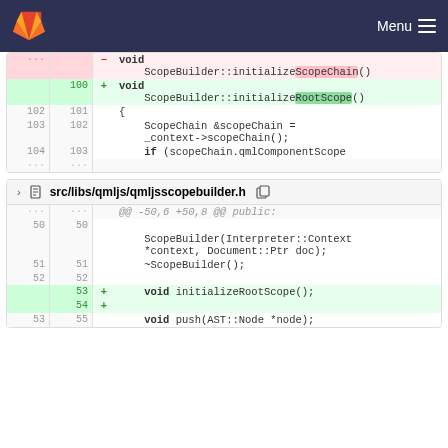GitLab — Menu
[Figure (screenshot): Code diff showing changes in a C++ source file. Deleted line shows ScopeBuilder::initializeScopeChain(), added lines show void ScopeBuilder::initializeRootScope(). Context lines show {, ScopeChain &scopeChain = _context->scopeChain();, if (scopeChain.qmlComponentScope]
[Figure (screenshot): Code diff for src/libs/qmljs/qmljsscopebuilder.h. Hunk @@ -50,6 +50,8 @@ public:. Lines show ScopeBuilder constructor, ~ScopeBuilder(), added void initializeRootScope(); and blank line, then void push(AST::Node *node);]